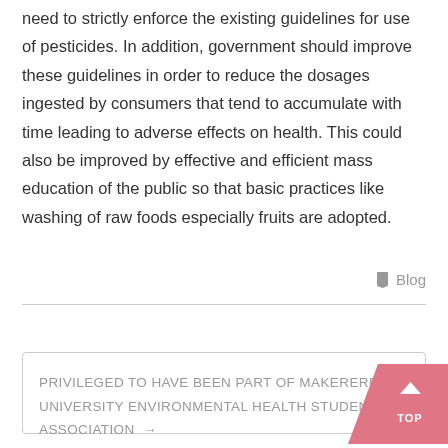need to strictly enforce the existing guidelines for use of pesticides. In addition, government should improve these guidelines in order to reduce the dosages ingested by consumers that tend to accumulate with time leading to adverse effects on health. This could also be improved by effective and efficient mass education of the public so that basic practices like washing of raw foods especially fruits are adopted.
Blog
PRIVILEGED TO HAVE BEEN PART OF MAKERERE UNIVERSITY ENVIRONMENTAL HEALTH STUDENTS' ASSOCIATION →